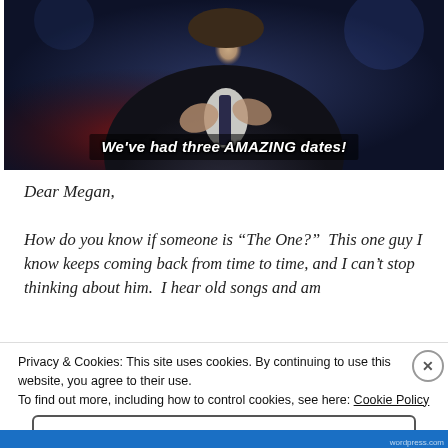[Figure (photo): Man in dark suit clapping or gesturing on a TV show set with red furniture and blue lighting background, with subtitle text overlay reading: We've had three AMAZING dates!]
Dear Megan,
How do you know if someone is “The One?”  This one guy I know keeps coming back from time to time, and I can’t stop thinking about him.  I hear old songs and am
Privacy & Cookies: This site uses cookies. By continuing to use this website, you agree to their use.
To find out more, including how to control cookies, see here: Cookie Policy
Close and accept